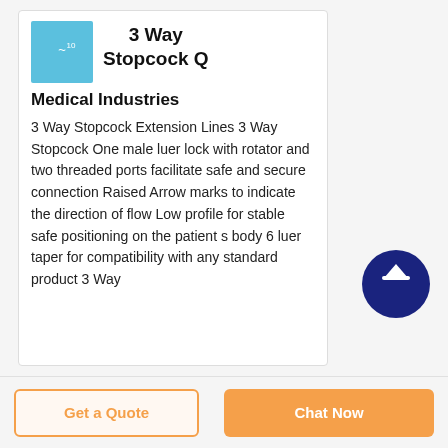[Figure (photo): Product thumbnail image with light blue background showing stopcock product]
3 Way Stopcock Q
Medical Industries
3 Way Stopcock Extension Lines 3 Way Stopcock One male luer lock with rotator and two threaded ports facilitate safe and secure connection Raised Arrow marks to indicate the direction of flow Low profile for stable safe positioning on the patient s body 6 luer taper for compatibility with any standard product 3 Way
[Figure (illustration): Scroll to top button - dark blue circle with white upward arrow]
Get a Quote
Chat Now